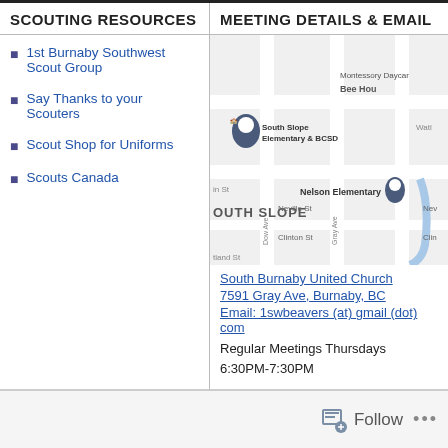SCOUTING RESOURCES
1st Burnaby Southwest Scout Group
Say Thanks to your Scouters
Scout Shop for Uniforms
Scouts Canada
MEETING DETAILS & EMAIL
[Figure (map): Google Maps screenshot showing South Slope Elementary & BCSD, Nelson Elementary, Montessory Daycare, Bee Hou, with streets including Neville St, Clinton St, Dow Ave, Gray Ave, in South Slope area of Burnaby, BC]
South Burnaby United Church
7591 Gray Ave, Burnaby, BC
Email: 1swbeavers (at) gmail (dot) com
Regular Meetings Thursdays
6:30PM-7:30PM
Follow ...